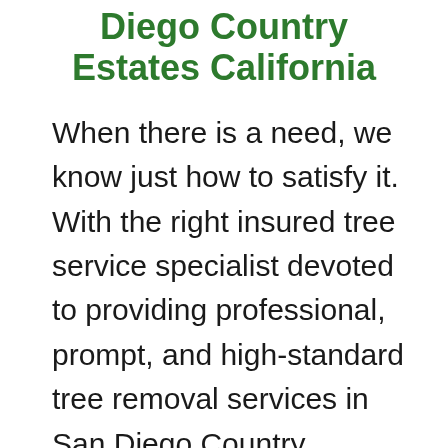Diego Country Estates California
When there is a need, we know just how to satisfy it. With the right insured tree service specialist devoted to providing professional, prompt, and high-standard tree removal services in San Diego Country Estates, Ca, you can never go wrong.  This is why we offer the best professional tree trimming, tree